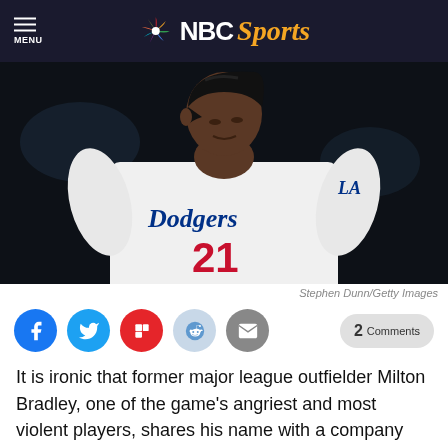NBC Sports
[Figure (photo): Milton Bradley in a Los Angeles Dodgers white jersey, number 21, looking upward with a batting helmet on, photographed from below against a dark stadium background.]
Stephen Dunn/Getty Images
It is ironic that former major league outfielder Milton Bradley, one of the game's angriest and most violent players, shares his name with a company that